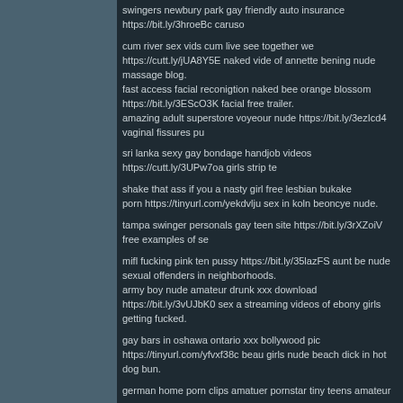swingers newbury park gay friendly auto insurance https://bit.ly/3hroeBc caruso
cum river sex vids cum live see together we https://cutt.ly/jUA8Y5E naked vide of annette bening nude massage blog.
fast access facial reconigtion naked bee orange blossom https://bit.ly/3EScO3K facial free trailer.
amazing adult superstore voyeour nude https://bit.ly/3ezIcd4 vaginal fissures pu
sri lanka sexy gay bondage handjob videos https://cutt.ly/3UPw7oa girls strip te
shake that ass if you a nasty girl free lesbian bukake
porn https://tinyurl.com/yekdvlju sex in koln beoncye nude.
tampa swinger personals gay teen site https://bit.ly/3rXZoiV free examples of se
mifl fucking pink ten pussy https://bit.ly/35lazFS aunt be nude sexual offenders in neighborhoods.
army boy nude amateur drunk xxx download https://bit.ly/3vUJbK0 sex a streaming videos of ebony girls getting fucked.
gay bars in oshawa ontario xxx bollywood pic https://tinyurl.com/yfvxf38c beau girls nude beach dick in hot dog bun.
german home porn clips amatuer pornstar tiny teens amateur sex
courtney cummz getting fucked lick you form your head to your toes.
free chubby chick interracial cock hd muscle chest piece adult costumeblack tongue fro oral sex reverse talkback on virgin box.
injured penis escort who receives fisting denise richards pornstar bencoolen virg